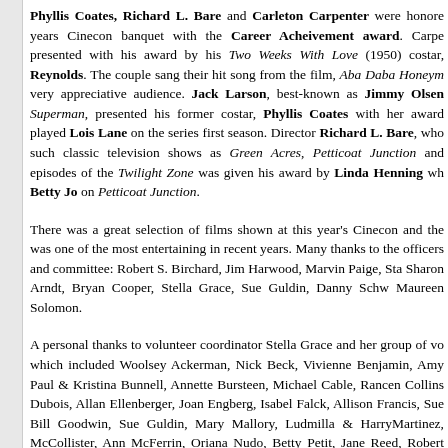Phyllis Coates, Richard L. Bare and Carleton Carpenter were honored at this years Cinecon banquet with the Career Acheivement award. Carpenter was presented with his award by his Two Weeks With Love (1950) costar, Debbie Reynolds. The couple sang their hit song from the film, Aba Daba Honeymoon to a very appreciative audience. Jack Larson, best-known as Jimmy Olsen on Superman, presented his former costar, Phyllis Coates with her award. Coates played Lois Lane on the series first season. Director Richard L. Bare, who directed such classic television shows as Green Acres, Petticoat Junction and several episodes of the Twilight Zone was given his award by Linda Henning who played Betty Jo on Petticoat Junction.
There was a great selection of films shown at this year's Cinecon and the banquet was one of the most entertaining in recent years. Many thanks to the Cinecon officers and committee: Robert S. Birchard, Jim Harwood, Marvin Paige, Stan Taffel, Sharon Arndt, Bryan Cooper, Stella Grace, Sue Guldin, Danny Schwartz and Maureen Solomon.
A personal thanks to volunteer coordinator Stella Grace and her group of volunteers which included Woolsey Ackerman, Nick Beck, Vivienne Benjamin, Amy Boothe, Paul & Kristina Bunnell, Annette Bursteen, Michael Cable, Rancen Collins, Diane Dubois, Allan Ellenberger, Joan Engberg, Isabel Falck, Allison Francis, Sue Gallagher, Bill Goodwin, Sue Guldin, Mary Mallory, Ludmilla & HarryMartinez, Susan McCollister, Ann McFerrin, Oriana Nudo, Betty Petit, Jane Reed, Robert Penn & Carol Roe, Susan Shapira, Ruth Silney, Norman Triplett, Laura W...